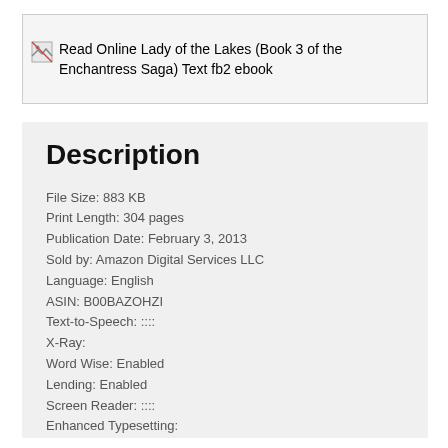[Figure (other): Broken image placeholder with alt text: Read Online Lady of the Lakes (Book 3 of the Enchantress Saga) Text fb2 ebook]
Description
File Size: 883 KB
Print Length: 304 pages
Publication Date: February 3, 2013
Sold by: Amazon Digital Services LLC
Language: English
ASIN: B00BAZOHZI
Text-to-Speech: ::::
X-Ray:
Word Wise: Enabled
Lending: Enabled
Screen Reader: ::::
Enhanced Typesetting: